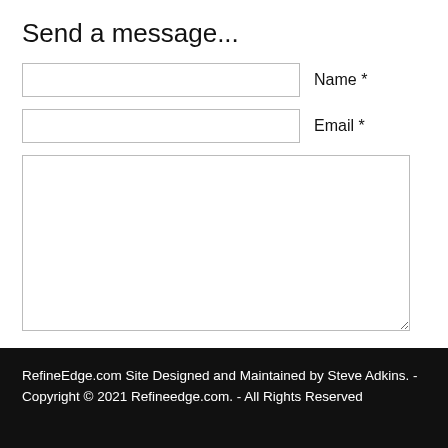Send a message...
Name *
Email *
I give permission to store the above data and use it to contact me.
Submit
RefineEdge.com Site Designed and Maintained by Steve Adkins. - Copyright © 2021 Refineedge.com. - All Rights Reserved